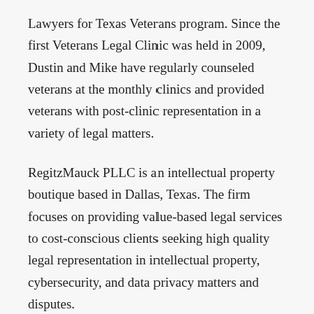Lawyers for Texas Veterans program. Since the first Veterans Legal Clinic was held in 2009, Dustin and Mike have regularly counseled veterans at the monthly clinics and provided veterans with post-clinic representation in a variety of legal matters.
RegitzMauck PLLC is an intellectual property boutique based in Dallas, Texas. The firm focuses on providing value-based legal services to cost-conscious clients seeking high quality legal representation in intellectual property, cybersecurity, and data privacy matters and disputes.
NEWS | NOVEMBER 30, 2020 | 0 COMMENTS